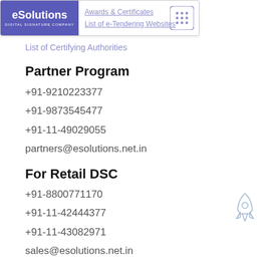[Figure (logo): eSolutions Digital Signature Company logo in purple/blue box with navigation links 'Awards & Certificates', 'List of e-Tendering Websites' and a grid icon]
List of Certifying Authorities
Partner Program
+91-9210223377
+91-9873545477
+91-11-49029055
partners@esolutions.net.in
For Retail DSC
+91-8800771170
+91-11-42444377
+91-11-43082971
[Figure (illustration): Rocket ship outline icon in light blue/grey]
sales@esolutions.net.in
Locate us
#207, 1st Floor, Vikas Complex,